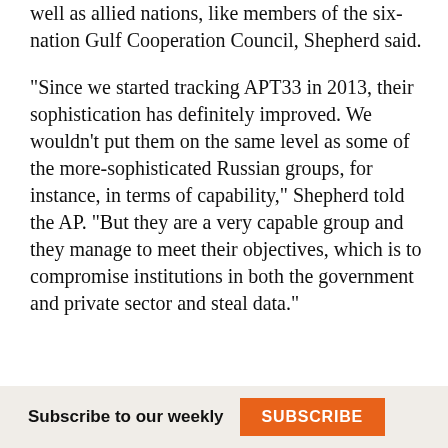well as allied nations, like members of the six-nation Gulf Cooperation Council, Shepherd said.
"Since we started tracking APT33 in 2013, their sophistication has definitely improved. We wouldn't put them on the same level as some of the more-sophisticated Russian groups, for instance, in terms of capability," Shepherd told the AP. "But they are a very capable group and they manage to meet their objectives, which is to compromise institutions in both the government and private sector and steal data."
Subscribe to our weekly